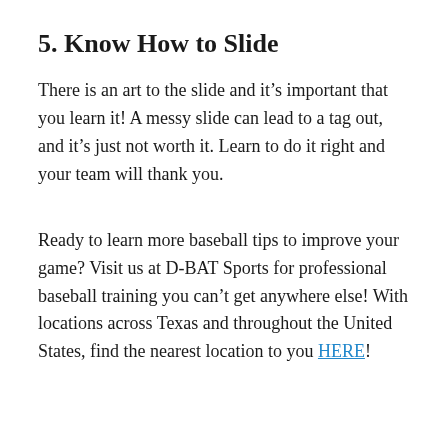5. Know How to Slide
There is an art to the slide and it’s important that you learn it! A messy slide can lead to a tag out, and it’s just not worth it. Learn to do it right and your team will thank you.
Ready to learn more baseball tips to improve your game? Visit us at D-BAT Sports for professional baseball training you can’t get anywhere else! With locations across Texas and throughout the United States, find the nearest location to you HERE!